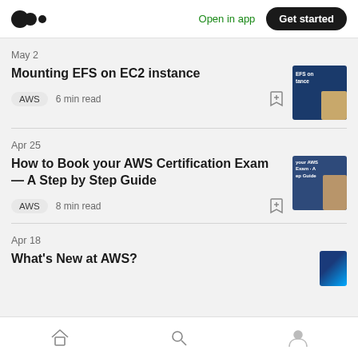Open in app  Get started
May 2
Mounting EFS on EC2 instance
AWS  6 min read
Apr 25
How to Book your AWS Certification Exam — A Step by Step Guide
AWS  8 min read
Apr 18
What's New at AWS?